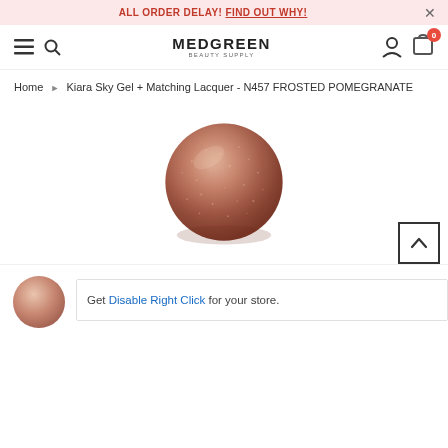ALL ORDER DELAY! FIND OUT WHY!
[Figure (logo): MEDGREEN BEAUTY SUPPLY logo with hamburger menu, search icon, user icon, and cart icon with badge 0]
Home > Kiara Sky Gel + Matching Lacquer - N457 FROSTED POMEGRANATE
[Figure (photo): Round nail polish color swatch showing frosted pomegranate - a shimmery rose-brown/copper color]
[Figure (photo): Small thumbnail of nail polish bottle and color swatch in pale pink]
Get Disable Right Click for your store.